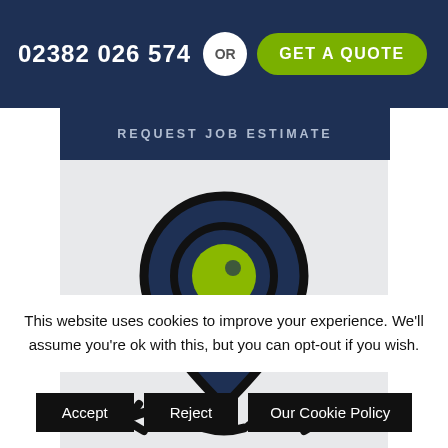02382 026 574  OR  GET A QUOTE
REQUEST JOB ESTIMATE
[Figure (illustration): A large location pin / map marker icon in dark navy blue with a yellow-green circle in the center, placed over a light grey background panel. Below the pin tip are stylized road or landscape shapes.]
This website uses cookies to improve your experience. We'll assume you're ok with this, but you can opt-out if you wish.
Accept
Reject
Our Cookie Policy